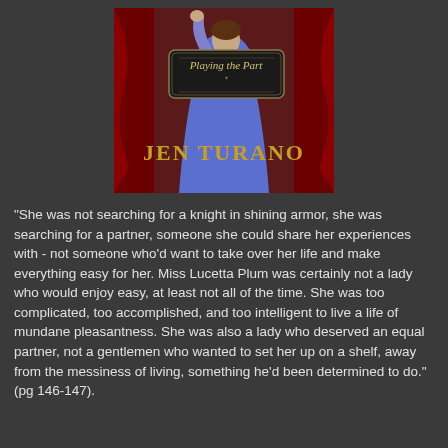[Figure (illustration): Book cover for 'Playing the Part' by Jen Turano. Shows a woman in a blue dress against a red curtain background. The title 'Playing the Part' appears in italic script on a black ornamental sign. The author name 'JEN TURANO' is displayed in large gold letters at the bottom of the cover.]
"She was not searching for a knight in shining armor, she was searching for a partner, someone she could share her experiences with - not someone who'd want to take over her life and make everything easy for her. Miss Lucetta Plum was certainly not a lady who would enjoy easy, at least not all of the time. She was too complicated, too accomplished, and too intelligent to live a life of mundane pleasantness. She was also a lady who deserved an equal partner, not a gentlemen who wanted to set her up on a shelf, away from the messiness of living, something he'd been determined to do." (pg 146-147).